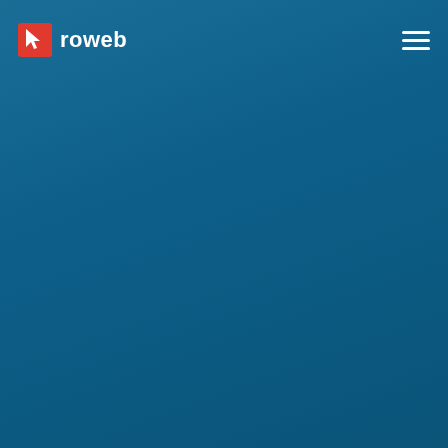[Figure (logo): Roweb logo — red square icon with white cursor arrow, followed by white bold text 'roweb']
[Figure (other): Hamburger menu icon (three horizontal white lines) in top-right corner]
[Figure (other): Large teal/dark blue background fill covering the majority of the page]